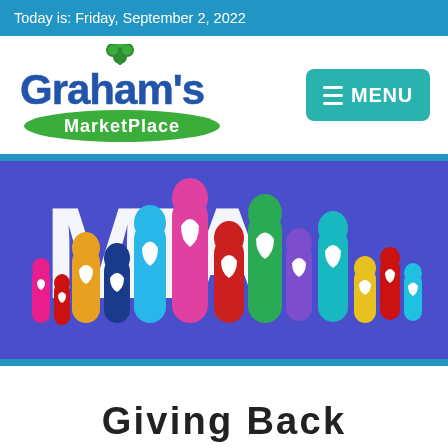Today is: Friday, September 2, 2022
[Figure (logo): Graham's MarketPlace logo with green shamrock and green oval subtitle bar]
[Figure (other): Menu button with hamburger icon and MENU text on teal background]
[Figure (illustration): MRA logo on blue/purple background with colorful raised hands each containing a heart symbol]
Giving Back